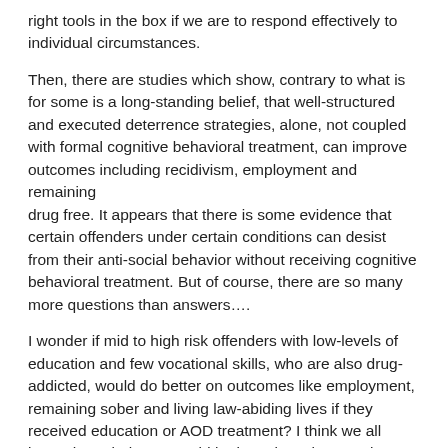right tools in the box if we are to respond effectively to individual circumstances.
Then, there are studies which show, contrary to what is for some is a long-standing belief, that well-structured and executed deterrence strategies, alone, not coupled with formal cognitive behavioral treatment, can improve outcomes including recidivism, employment and remaining drug free. It appears that there is some evidence that certain offenders under certain conditions can desist from their anti-social behavior without receiving cognitive behavioral treatment. But of course, there are so many more questions than answers….
I wonder if mid to high risk offenders with low-levels of education and few vocational skills, who are also drug-addicted, would do better on outcomes like employment, remaining sober and living law-abiding lives if they received education or AOD treatment? I think we all know that a balance would be best, but what we also know is that we can't be all things to all people. In my experience, the default is always treatment first and maybe that is the better way to go generally, but I don't think that we should just accept this approach without thinking it through and objectively studying